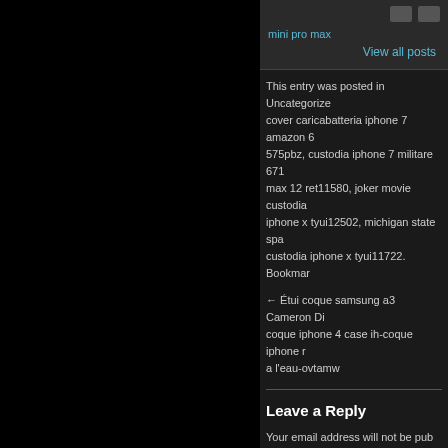[Figure (other): Navigation buttons and 'mini pro max' and 'View all posts' link at top of right panel]
This entry was posted in Uncategorized cover caricabatteria iphone 7 amazon 6 575pbz, custodia iphone 7 militare 671b max 12 ret11580, joker movie custodia iphone x tyui12502, michigan state spa custodia iphone x tyui11722. Bookmark
← Étui coque samsung a3 Cameron Di coque iphone 4 case ih-coque iphone r a l'eau-ovtamw
Leave a Reply
Your email address will not be pub
Name *